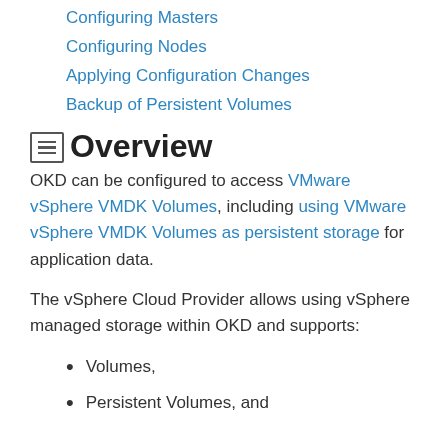Configuring Masters
Configuring Nodes
Applying Configuration Changes
Backup of Persistent Volumes
Overview
OKD can be configured to access VMware vSphere VMDK Volumes, including using VMware vSphere VMDK Volumes as persistent storage for application data.
The vSphere Cloud Provider allows using vSphere managed storage within OKD and supports:
Volumes,
Persistent Volumes, and